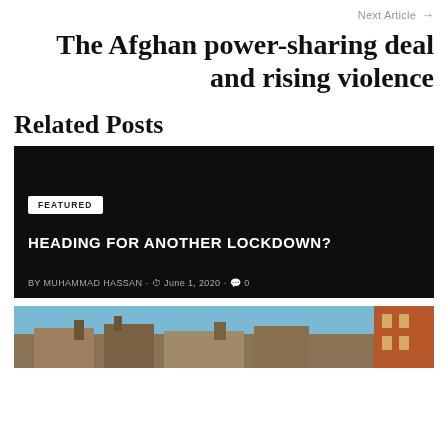Next Article →
The Afghan power-sharing deal and rising violence
Related Posts
[Figure (photo): Dark background card with FEATURED badge, headline HEADING FOR ANOTHER LOCKDOWN?, author Muhammad Hassan, date June 1, 2020, 0 comments]
FEATURED
HEADING FOR ANOTHER LOCKDOWN?
BY MUHAMMAD HASSAN - June 1, 2020 - 0
[Figure (photo): Outdoor photo showing rooftops under blue sky with brown/terracotta building on the right edge]